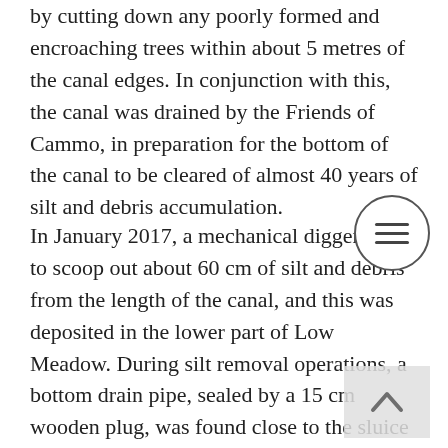by cutting down any poorly formed and encroaching trees within about 5 metres of the canal edges. In conjunction with this, the canal was drained by the Friends of Cammo, in preparation for the bottom of the canal to be cleared of almost 40 years of silt and debris accumulation.
In January 2017, a mechanical digger began to scoop out about 60 cm of silt and debris from the length of the canal, and this was deposited in the lower part of Low Meadow. During silt removal operations, a bottom drain pipe, sealed by a 15 cm wooden plug, was found close to the sluice arrangement at the eastern end of the canal and, about 15 metres from the western end, a previously unknown concrete boom stretched across the canal from side to side, which was assumed to be a form of